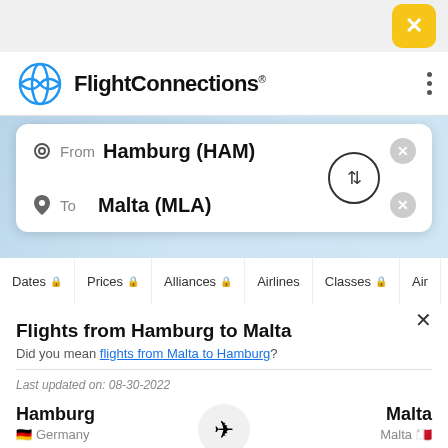[Figure (screenshot): Yellow X close button in top right corner]
[Figure (logo): FlightConnections logo with globe icon and three-dot menu]
From  Hamburg (HAM)
To  Malta (MLA)
Dates  Prices  Alliances  Airlines  Classes  Ai...
Flights from Hamburg to Malta
Did you mean flights from Malta to Hamburg?
Last updated on: 08-30-2022
Hamburg
Germany
HAM
Malta
Malta
MLA